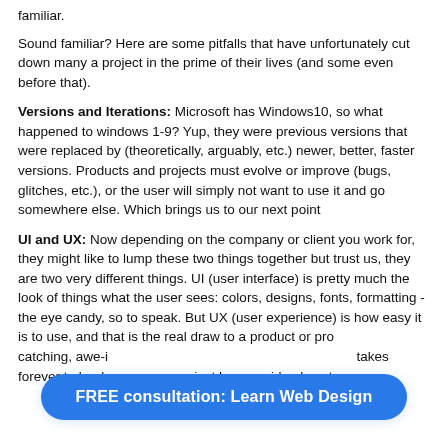familiar.
Sound familiar? Here are some pitfalls that have unfortunately cut down many a project in the prime of their lives (and some even before that).
Versions and Iterations: Microsoft has Windows10, so what happened to windows 1-9? Yup, they were previous versions that were replaced by (theoretically, arguably, etc.) newer, better, faster versions. Products and projects must evolve or improve (bugs, glitches, etc.), or the user will simply not want to use it and go somewhere else. Which brings us to our next point
UI and UX: Now depending on the company or client you work for, they might like to lump these two things together but trust us, they are two very different things. UI (user interface) is pretty much the look of things what the user sees: colors, designs, fonts, formatting -the eye candy, so to speak. But UX (user experience) is how easy it is to use, and that is the real draw to a product or pro... catching, awe-i... takes forever to load, or your users just have no idea how to
FREE consultation: Learn Web Design